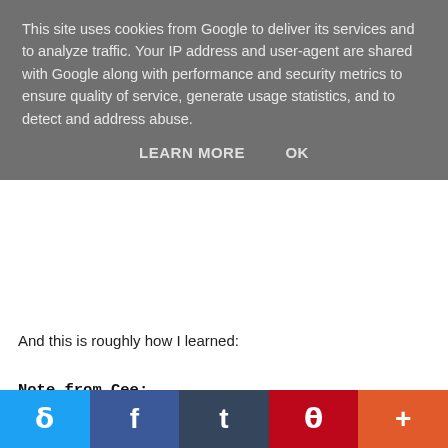This site uses cookies from Google to deliver its services and to analyze traffic. Your IP address and user-agent are shared with Google along with performance and security metrics to ensure quality of service, generate usage statistics, and to detect and address abuse.
LEARN MORE   OK
And this is roughly how I learned:
Note from Cee:
Hopefully I've done this right, and it starts playing at 19.48 - if not, that's the time-stamp Evelina wants you to go to!
Also, SERIOUS FLASHING IMAGES WARNING!